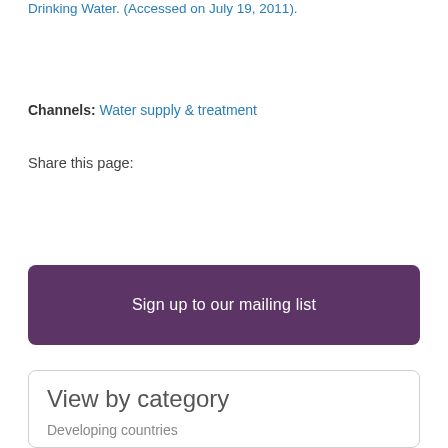Drinking Water. (Accessed on July 19, 2011).
Channels: Water supply & treatment
Share this page:
Sign up to our mailing list
View by category
Developing countries